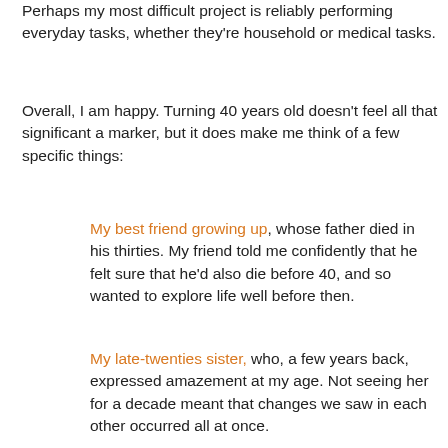Perhaps my most difficult project is reliably performing everyday tasks, whether they're household or medical tasks.
Overall, I am happy. Turning 40 years old doesn't feel all that significant a marker, but it does make me think of a few specific things:
My best friend growing up, whose father died in his thirties. My friend told me confidently that he felt sure that he'd also die before 40, and so wanted to explore life well before then.
My late-twenties sister, who, a few years back, expressed amazement at my age. Not seeing her for a decade meant that changes we saw in each other occurred all at once.